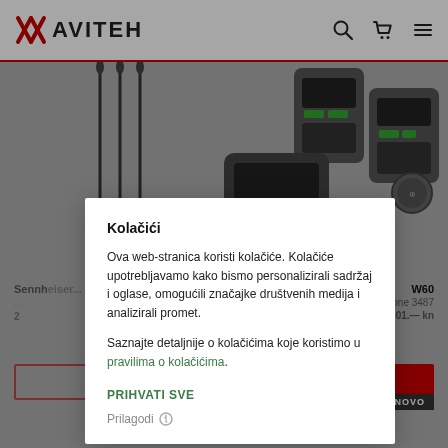AVITEH
[Figure (screenshot): E-commerce website background showing microphone stands on left and wireless audio devices on right, with product listing below]
Sennheiser... W60 ... microphone 3487
Kolačići
Ova web-stranica koristi kolačiće. Kolačiće upotrebljavamo kako bismo personalizirali sadržaj i oglase, omogućili značajke društvenih medija i analizirali promet.
Saznajte detaljnije o kolačićima koje koristimo u pravilima o kolačićima.
PRIHVATI SVE
Prilagodi